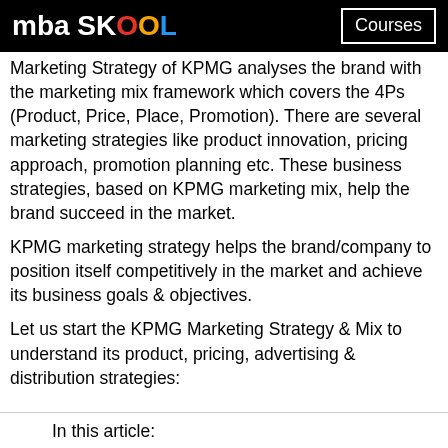mba SKOOL | Courses
Marketing Strategy of KPMG analyses the brand with the marketing mix framework which covers the 4Ps (Product, Price, Place, Promotion). There are several marketing strategies like product innovation, pricing approach, promotion planning etc. These business strategies, based on KPMG marketing mix, help the brand succeed in the market.
KPMG marketing strategy helps the brand/company to position itself competitively in the market and achieve its business goals & objectives.
Let us start the KPMG Marketing Strategy & Mix to understand its product, pricing, advertising & distribution strategies:
In this article:
Product Strategy